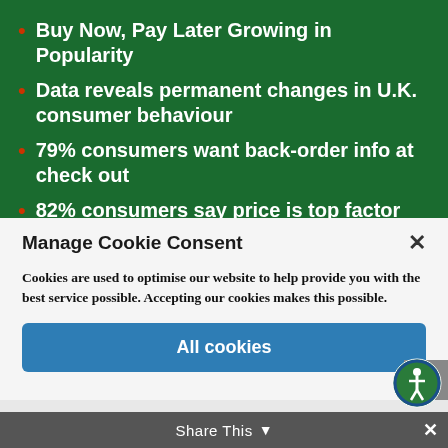Buy Now, Pay Later Growing in Popularity
Data reveals permanent changes in U.K. consumer behaviour
79% consumers want back-order info at check out
82% consumers say price is top factor influencing purchase
Manage Cookie Consent
Cookies are used to optimise our website to help provide you with the best service possible. Accepting our cookies makes this possible.
All cookies
Deny
Share This